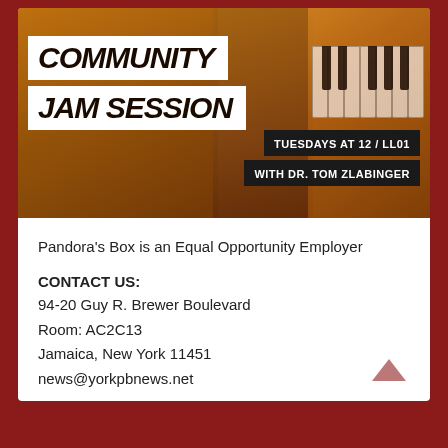[Figure (illustration): Community Jam Session event poster with amber/orange tinted background showing hands playing guitar and violin, and piano keys. White text bands read 'COMMUNITY' and 'JAM SESSION' in bold italic. Dark bands read 'TUESDAYS AT 12 / LL01' and 'WITH DR. TOM ZLABINGER'.]
Pandora's Box is an Equal Opportunity Employer
CONTACT US:
94-20 Guy R. Brewer Boulevard
Room: AC2C13
Jamaica, New York 11451
news@yorkpbnews.net